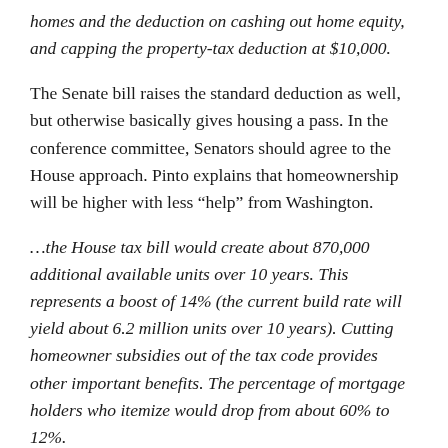homes and the deduction on cashing out home equity, and capping the property-tax deduction at $10,000.
The Senate bill raises the standard deduction as well, but otherwise basically gives housing a pass. In the conference committee, Senators should agree to the House approach. Pinto explains that homeownership will be higher with less “help” from Washington.
…the House tax bill would create about 870,000 additional available units over 10 years. This represents a boost of 14% (the current build rate will yield about 6.2 million units over 10 years). Cutting homeowner subsidies out of the tax code provides other important benefits. The percentage of mortgage holders who itemize would drop from about 60% to 12%.
To Spur Homeownership,